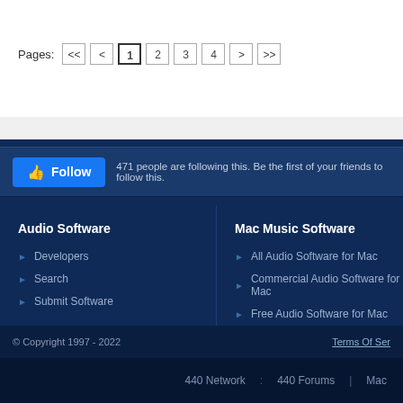Pages: << < 1 2 3 4 > >>
471 people are following this. Be the first of your friends to follow this.
Audio Software
Developers
Search
Submit Software
Mac Music Software
All Audio Software for Mac
Commercial Audio Software for Mac
Free Audio Software for Mac
© Copyright 1997 - 2022    Terms Of Ser...
440 Network  :  440 Forums  |  Mac...